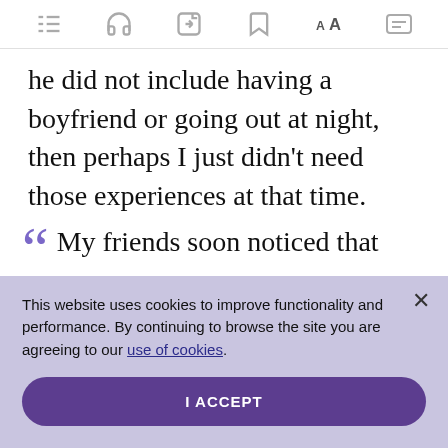[toolbar icons: list, headphones, share, bookmark, AA, captions]
he did not include having a boyfriend or going out at night, then perhaps I just didn't need those experiences at that time.
“My friends soon noticed that
This website uses cookies to improve functionality and performance. By continuing to browse the site you are agreeing to our use of cookies.
I ACCEPT